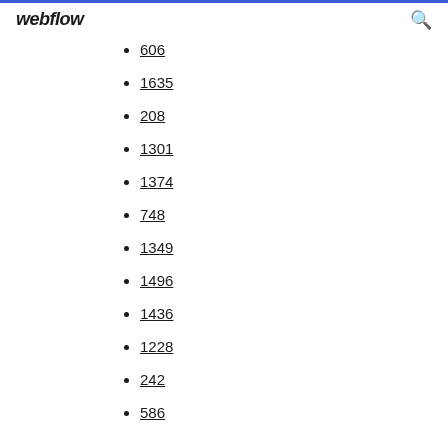webflow
606
1635
208
1301
1374
748
1349
1496
1436
1228
242
586